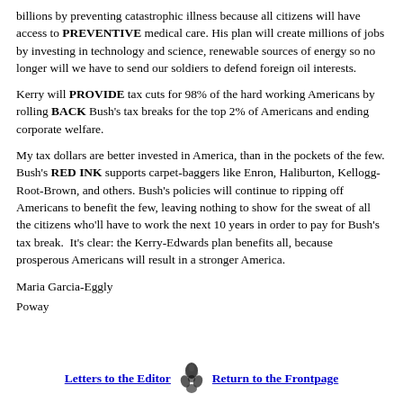billions by preventing catastrophic illness because all citizens will have access to PREVENTIVE medical care. His plan will create millions of jobs by investing in technology and science, renewable sources of energy so no longer will we have to send our soldiers to defend foreign oil interests.
Kerry will PROVIDE tax cuts for 98% of the hard working Americans by rolling BACK Bush's tax breaks for the top 2% of Americans and ending corporate welfare.
My tax dollars are better invested in America, than in the pockets of the few. Bush's RED INK supports carpet-baggers like Enron, Haliburton, Kellogg-Root-Brown, and others. Bush's policies will continue to ripping off Americans to benefit the few, leaving nothing to show for the sweat of all the citizens who'll have to work the next 10 years in order to pay for Bush's tax break. It's clear: the Kerry-Edwards plan benefits all, because prosperous Americans will result in a stronger America.
Maria Garcia-Eggly
Poway
[Figure (illustration): Small decorative ornament/fleuron graphic between navigation links]
Letters to the Editor   Return to the Frontpage